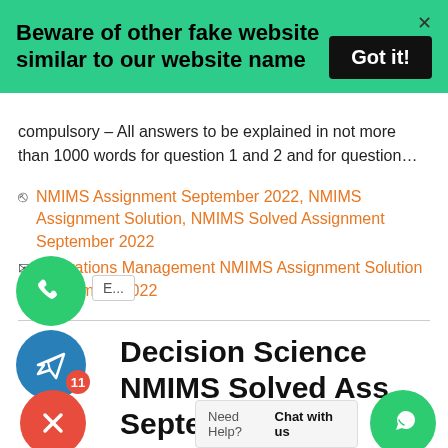[Figure (infographic): Green banner with bold text 'Beware of other fake website similar to our website name' and a black 'Got it!' button and X close button]
compulsory – All answers to be explained in not more than 1000 words for question 1 and 2 and for question…
NMIMS Assignment September 2022, NMIMS Assignment Solution, NMIMS Solved Assignment September 2022
Operations Management NMIMS Assignment Solution September 2022
Decision Science NMIMS Solved Ass… September 2022
Need Help? Chat with us